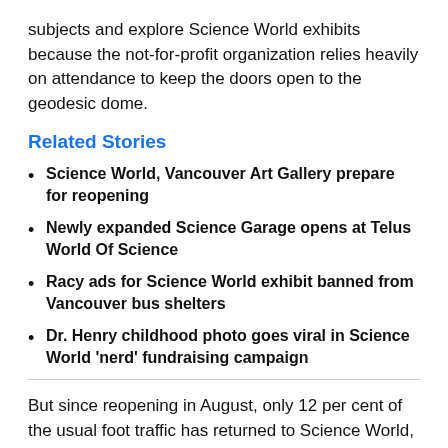subjects and explore Science World exhibits because the not-for-profit organization relies heavily on attendance to keep the doors open to the geodesic dome.
Related Stories
Science World, Vancouver Art Gallery prepare for reopening
Newly expanded Science Garage opens at Telus World Of Science
Racy ads for Science World exhibit banned from Vancouver bus shelters
Dr. Henry childhood photo goes viral in Science World 'nerd' fundraising campaign
But since reopening in August, only 12 per cent of the usual foot traffic has returned to Science World, according to information shared with CTV News.
In the past month as British Columbians coped with the